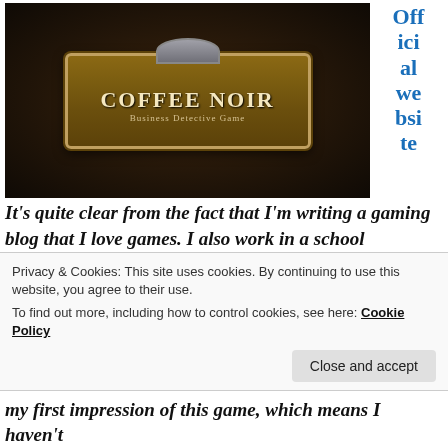[Figure (screenshot): Coffee Noir: Business Detective Game logo on dark background. A wooden sign-style logo with dome top reads 'COFFEE NOIR' in bold letters with subtitle 'Business Detective Game'.]
Official website
It's quite clear from the fact that I'm writing a gaming blog that I love games. I also work in a school secretary. Now, I came across this recently translated game that combines both worlds called Coffee Noir. Yes, this is an edutainment game. This game is developed by Brii Educational Innovations...
Privacy & Cookies: This site uses cookies. By continuing to use this website, you agree to their use.
To find out more, including how to control cookies, see here: Cookie Policy
my first impression of this game, which means I haven't